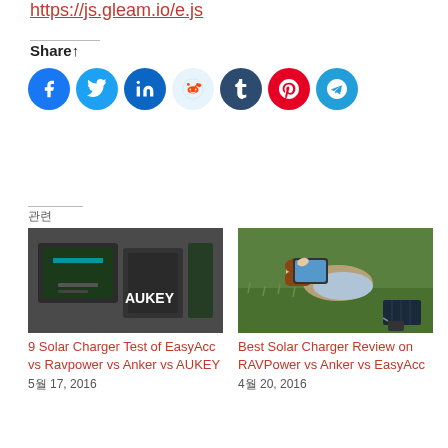https://js.gleam.io/e.js
Share↑
[Figure (infographic): Row of 7 social share icon buttons: Facebook (blue), Twitter (light blue), LinkedIn (dark blue), Reddit (light blue/white), Tumblr (dark navy), Pinterest (red), Telegram (teal)]
[Figure (infographic): Star rating button with star icon and count, below it a row of small rating indicators]
관련
[Figure (photo): Photo of AUKEY solar charger panel folded on ground]
9 Solar Charger Test of EasyAcc vs Ravpower vs Anker vs AUKEY
5월 17, 2016
[Figure (photo): Photo of woman lying on grass looking at tablet with solar charger]
Best Solar Charger Review on RAVPower vs Anker vs EasyAcc
4월 20, 2016